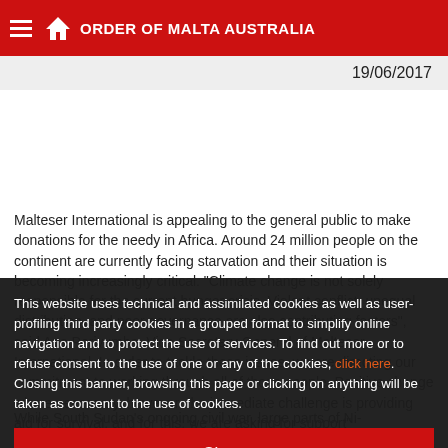ORDER OF MALTA AUSTRALIA
19/06/2017
Malteser International is appealing to the general public to make donations for the needy in Africa. Around 24 million people on the continent are currently facing starvation and their situation is becoming increasingly critical. "Climate change is not solely responsible for the current hunger crisis. Violent conflict, unequal distribution, and poor governance are also contributing factors", said Ana Perivumba, Vice-Secretary General of Malteser International. In order to tackle these issues, we are directing our commitment to working through all of those people. Positive change where necessary, however, the immediate challenge is providing aid for survival, and for this, we are asking for support"
This website uses technical and assimilated cookies as well as user-profiling third party cookies in a grouped format to simplify online navigation and to protect the use of services. To find out more or to refuse consent to the use of one or any of the cookies, click here. Closing this banner, browsing this page or clicking on anything will be taken as consent to the use of cookies.
Close
While South Sudan's ongoing civil war, large parts of Nigeria, Kenya have seen very low rainfall in the past months. Due to the